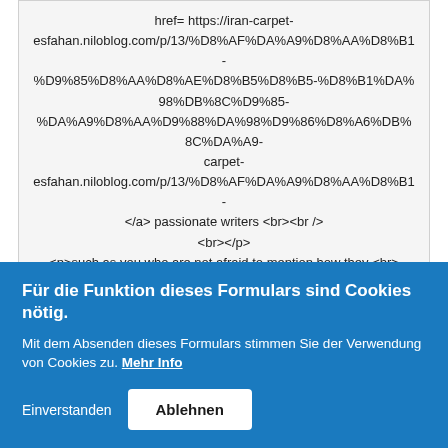href= https://iran-carpet-esfahan.niloblog.com/p/13/%D8%AF%DA%A9%D8%AA%D8%B1-%D9%85%D8%AA%D8%AE%D8%B5%D8%B5-%D8%B1%DA%98%DB%8C%D9%85-%D9%83%D8%A9%D8%AA%D9%88%DA%98%D9%86%D8%A6%DB%8C%DA%A9... carpet-esfahan.niloblog.com/p/13/%D8%AF%DA%A9%D8%AA%D8%B1-... </a> passionate writers <br><br /> <br></p> <p>such as you who are not afraid to mention how they <br> <br /> <br></p> <p>believe. Always follow your heart.</p>
Geschrieben von Anonymus am 3. Juni 2022 - 22:49
Für die Funktion dieses Formulars sind Cookies nötig. Mit dem Absenden dieses Formulars stimmen Sie der Verwendung von Cookies zu. Mehr Info
Einverstanden | Ablehnen